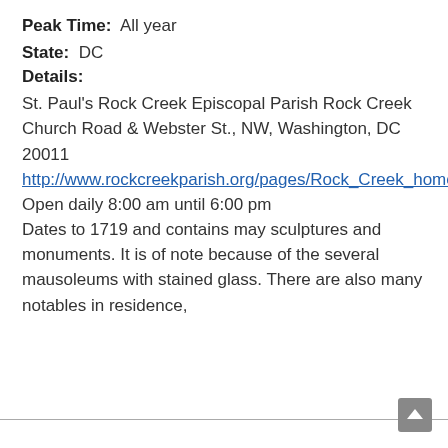Peak Time:  All year
State:  DC
Details:
St. Paul's Rock Creek Episcopal Parish Rock Creek Church Road & Webster St., NW, Washington, DC 20011 http://www.rockcreekparish.org/pages/Rock_Creek_home Open daily 8:00 am until 6:00 pm Dates to 1719 and contains may sculptures and monuments. It is of note because of the several mausoleums with stained glass. There are also many notables in residence,